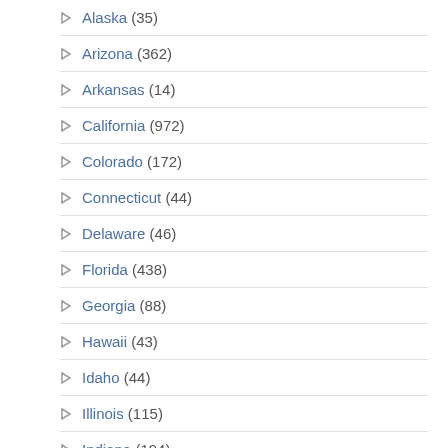Alaska (35)
Arizona (362)
Arkansas (14)
California (972)
Colorado (172)
Connecticut (44)
Delaware (46)
Florida (438)
Georgia (88)
Hawaii (43)
Idaho (44)
Illinois (115)
Indiana (194)
Iowa (0)